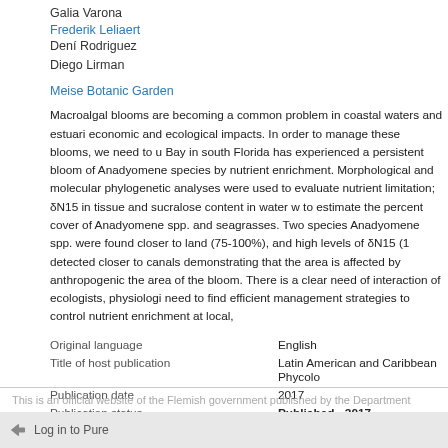Galia Varona
Frederik Leliaert
Dení Rodriguez
Diego Lirman
Meise Botanic Garden
Macroalgal blooms are becoming a common problem in coastal waters and estuaries with economic and ecological impacts. In order to manage these blooms, we need to understand Bay in south Florida has experienced a persistent bloom of Anadyomene species driven by nutrient enrichment. Morphological and molecular phylogenetic analyses were used to evaluate nutrient limitation; δN15 in tissue and sucralose content in water were to estimate the percent cover of Anadyomene spp. and seagrasses. Two species of Anadyomene spp. were found closer to land (75-100%), and high levels of δN15 (1 detected closer to canals demonstrating that the area is affected by anthropogenic the area of the bloom. There is a clear need of interaction of ecologists, physiologists need to find efficient management strategies to control nutrient enrichment at local,
| Field | Value |
| --- | --- |
| Original language | English |
| Title of host publication | Latin American and Caribbean Phycolo |
| Publication date | 2017 |
| Publication status | Published - 2017 |
| Event | Latin American and Caribbean Phycolo
Duration: 3-Jul-2017 → 7-Jul-2017 |
This is an official website of the Flemish government published by the Department
Log in to Pure